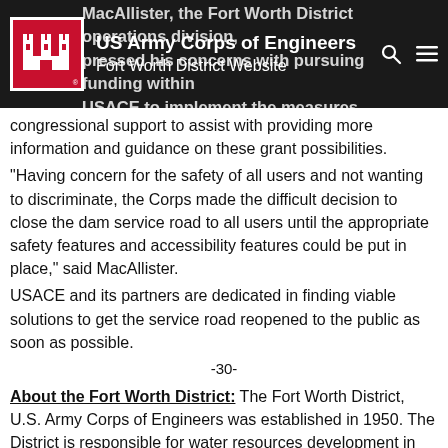US Army Corps of Engineers
Fort Worth District Website
congressional support to assist with providing more information and guidance on these grant possibilities.
“Having concern for the safety of all users and not wanting to discriminate, the Corps made the difficult decision to close the dam service road to all users until the appropriate safety features and accessibility features could be put in place,” said MacAllister.
USACE and its partners are dedicated in finding viable solutions to get the service road reopened to the public as soon as possible.
-30-
About the Fort Worth District: The Fort Worth District, U.S. Army Corps of Engineers was established in 1950. The District is responsible for water resources development in two-thirds of Texas, and design and construction at military installations in Texas and parts of Louisiana and New Mexico. Visit the Fort